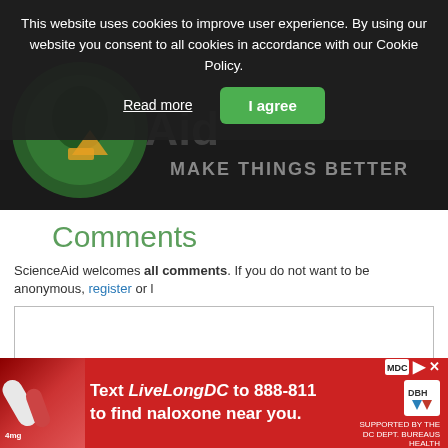[Figure (screenshot): Cookie consent banner overlay on a ScienceAid website page, with dark semi-transparent background, text about cookies, a 'Read more' link and an 'I agree' green button]
Comments
ScienceAid welcomes all comments. If you do not want to be anonymous, register or l
[Figure (screenshot): Comment text area input box, empty, with border]
[Figure (screenshot): Post comment green button]
Article Info
[Figure (screenshot): Chevron down arrow expand button]
[Figure (screenshot): Red advertisement banner at bottom: Text LiveLongDC to 888-811 to find naloxone near you. MDC and DBH logos on right side.]